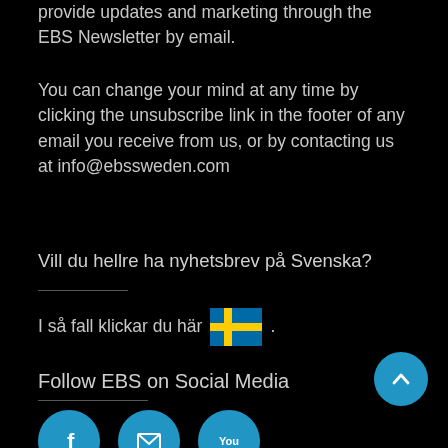provide updates and marketing through the EBS Newsletter by email.
You can change your mind at any time by clicking the unsubscribe link in the footer of any email you receive from us, or by contacting us at info@ebssweden.com
Vill du hellre ha nyhetsbrev på Svenska?
I så fall klickar du här 🇸🇪 .
Follow EBS on Social Media